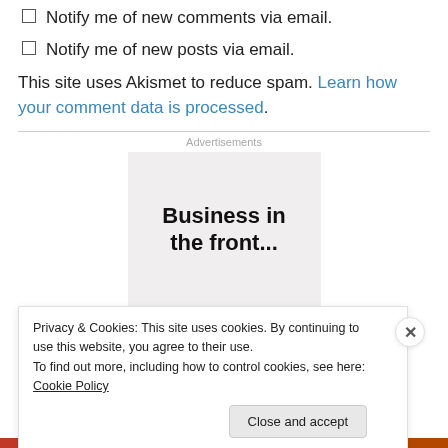Notify me of new comments via email.
Notify me of new posts via email.
This site uses Akismet to reduce spam. Learn how your comment data is processed.
Advertisements
[Figure (other): Advertisement placeholder box with text 'Business in the front...']
Privacy & Cookies: This site uses cookies. By continuing to use this website, you agree to their use.
To find out more, including how to control cookies, see here: Cookie Policy
Close and accept